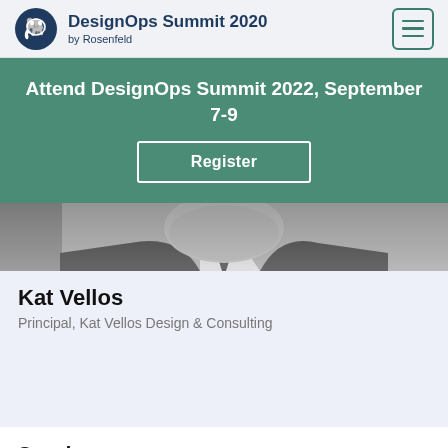DesignOps Summit 2020 by Rosenfeld
Attend DesignOps Summit 2022, September 7-9
Register
[Figure (photo): Black and white partial photo of a person, showing chin/neck area with suit and tie]
Kat Vellos
Principal, Kat Vellos Design & Consulting
Speakers